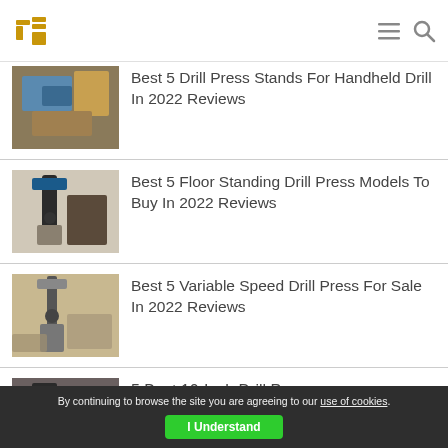Tool logo and navigation
Best 5 Drill Press Stands For Handheld Drill In 2022 Reviews
Best 5 Floor Standing Drill Press Models To Buy In 2022 Reviews
Best 5 Variable Speed Drill Press For Sale In 2022 Reviews
5 Best 10-Inch Drill Press
By continuing to browse the site you are agreeing to our use of cookies. I Understand